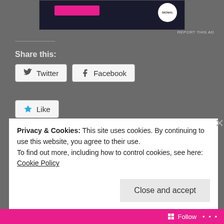[Figure (other): Advertisement banner at top of page, dark background with pink button and circular logo]
REPORT THIS AD
Share this:
Twitter
Facebook
Like
Be the first to like this.
just updates, mid week banter, nonsense, travels, work, WTF
Privacy & Cookies: This site uses cookies. By continuing to use this website, you agree to their use.
To find out more, including how to control cookies, see here: Cookie Policy
Close and accept